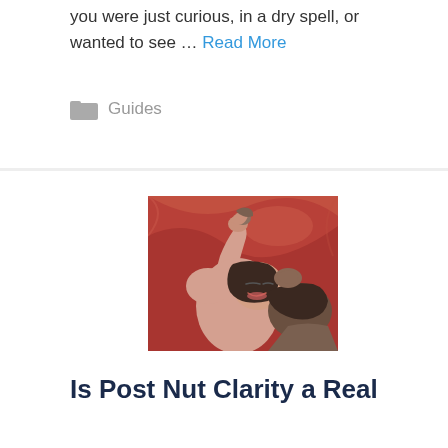you were just curious, in a dry spell, or wanted to see … Read More
Guides
[Figure (photo): A couple lying on red bed sheets, woman smiling with eyes closed, man nuzzling her neck, hands clasped above her head]
Is Post Nut Clarity a Real